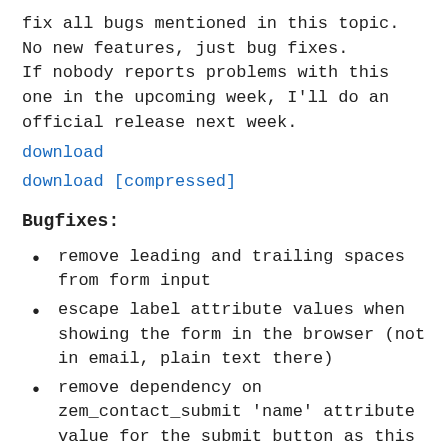fix all bugs mentioned in this topic.
No new features, just bug fixes.
If nobody reports problems with this one in the upcoming week, I'll do an official release next week.
download
download [compressed]
Bugfixes:
remove leading and trailing spaces from form input
escape label attribute values when showing the form in the browser (not in email, plain text there)
remove dependency on zem_contact_submit ‘name’ attribute value for the submit button as this is handled by the zem_contact_form_id